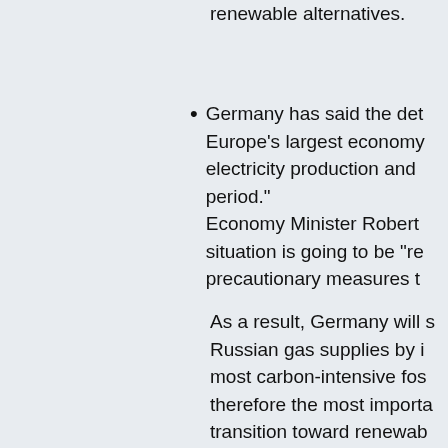renewable alternatives.
Germany has said the det Europe's largest economy electricity production and period." Economy Minister Robert situation is going to be "re precautionary measures t
As a result, Germany will s Russian gas supplies by i most carbon-intensive fos therefore the most importa transition toward renewab